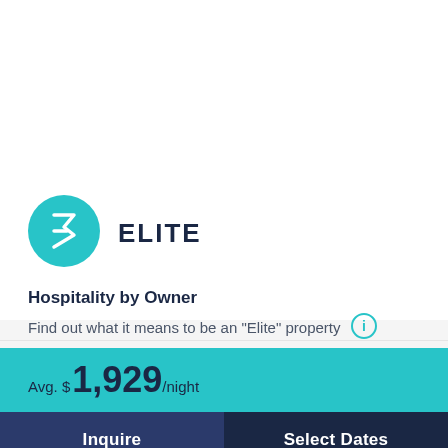[Figure (logo): Teal circular logo with stylized E/sigma-like symbol for Elite property badge]
ELITE
Hospitality by Owner
Find out what it means to be an "Elite" property
Avg. $1,929/night
Inquire
Select Dates